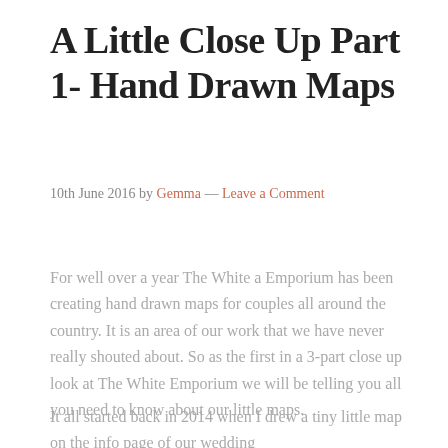A Little Close Up Part 1- Hand Drawn Maps
10th June 2016 by Gemma — Leave a Comment
For well over a year The White a Emporium has been creating hand drawn maps for couples all around the country. It is an area of our work that we have never really shouted about. So as the first in a 3-part close up look at The White Emporium we will be telling you all you need to know about our little maps.
It all started back in 2014 when I drew a tiny little map on the info page of our wedding